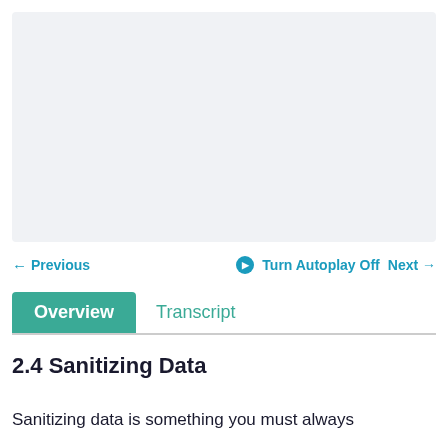[Figure (screenshot): Video player area, light gray background, blank/empty video frame]
← Previous    ▶ Turn Autoplay Off   Next →
Overview   Transcript
2.4 Sanitizing Data
Sanitizing data is something you must always